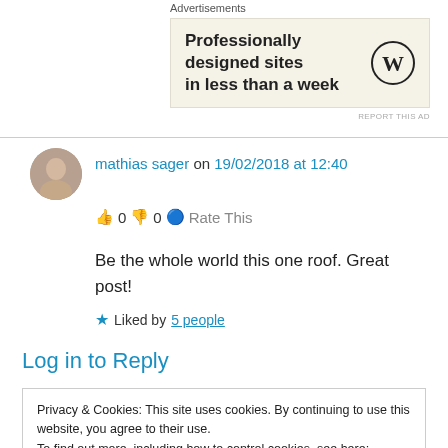Advertisements
[Figure (screenshot): WordPress advertisement banner: 'Professionally designed sites in less than a week' with WordPress logo]
REPORT THIS AD
[Figure (photo): User avatar photo of mathias sager]
mathias sager on 19/02/2018 at 12:40
👍 0 👎 0 ℹ Rate This
Be the whole world this one roof. Great post!
★ Liked by 5 people
Log in to Reply
Privacy & Cookies: This site uses cookies. By continuing to use this website, you agree to their use.
To find out more, including how to control cookies, see here: Cookie Policy
Close and accept